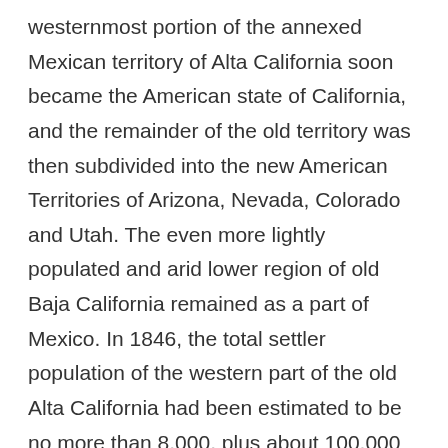westernmost portion of the annexed Mexican territory of Alta California soon became the American state of California, and the remainder of the old territory was then subdivided into the new American Territories of Arizona, Nevada, Colorado and Utah. The even more lightly populated and arid lower region of old Baja California remained as a part of Mexico. In 1846, the total settler population of the western part of the old Alta California had been estimated to be no more than 8,000, plus about 100,000 Native Americans, down from about 300,000 before Hispanic settlement in 1769.
In 1848, only one week before the official American annexation of the area, gold was